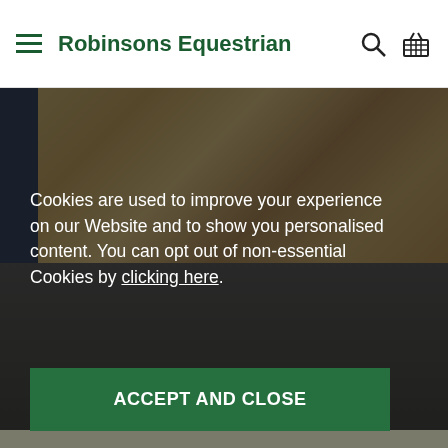Robinsons Equestrian
[Figure (photo): Background photo of a wicker basket and equestrian equipment, partially obscured by a dark overlay. Cookie consent dialog is overlaid on top.]
Cookies are used to improve your experience on our Website and to show you personalised content. You can opt out of non-essential Cookies by clicking here.
ACCEPT AND CLOSE
CARE